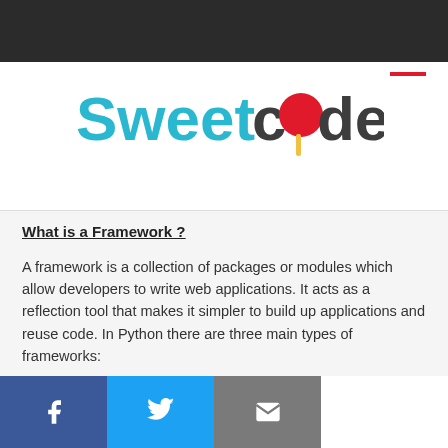Sweetcode
[Figure (logo): Sweetcode logo with candy/lollipop icon. 'Sweet' in cyan/teal, 'code' in dark gray, with a red lollipop ball replacing the 'o' in 'code' and a stick below.]
What is a Framework ?
A framework is a collection of packages or modules which allow developers to write web applications. It acts as a reflection tool that makes it simpler to build up applications and reuse code. In Python there are three main types of frameworks:
Full-Stack framework: